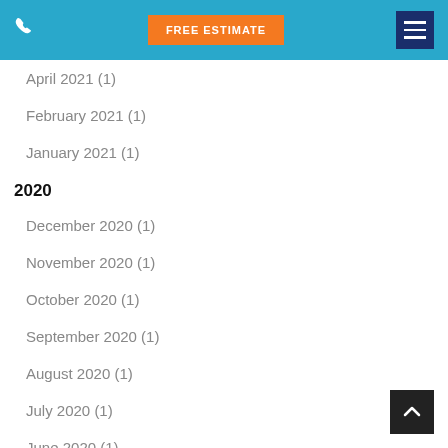FREE ESTIMATE
April 2021 (1)
February 2021 (1)
January 2021 (1)
2020
December 2020 (1)
November 2020 (1)
October 2020 (1)
September 2020 (1)
August 2020 (1)
July 2020 (1)
June 2020 (1)